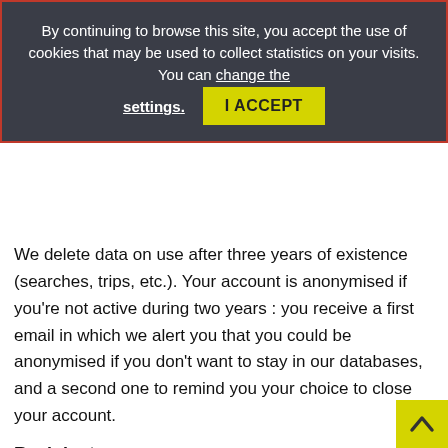–the purposes mentioned above or to meet our legal obligations when you close your customer account, your data is systematically anonymised after the legal time necessary to meet our legal (e.g. fraud and claims management).
[Figure (screenshot): Cookie consent banner overlay with dark background. Text: 'By continuing to browse this site, you accept the use of cookies that may be used to collect statistics on your visits. You can change the settings.' Yellow 'I ACCEPT' button.]
We delete data on use after three years of existence (searches, trips, etc.). Your account is anonymised if you're not active during two years : you receive a first email in which we alert you that you could be anonymised if you don't want to stay in our databases, and a second one to remind you your choice to close your account.
Recipients
Personal data is processed by STAS exclusively for the purposes described above as well as by Cityway, IT solution provider, for maintenance purposes and operating purposes, as appropriate. These service providers are located within the European Economic Area. In the case where non-EU data transfers are required, standard contractual provisions will be entered into with the service provider concerned to ensure an